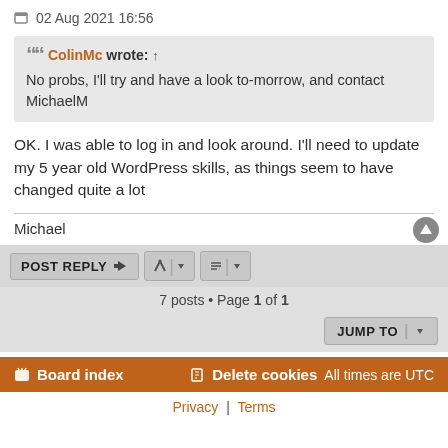02 Aug 2021 16:56
ColinMc wrote: ↑
No probs, I'll try and have a look to-morrow, and contact MichaelM
OK. I was able to log in and look around. I'll need to update my 5 year old WordPress skills, as things seem to have changed quite a lot
Michael
POST REPLY
7 posts • Page 1 of 1
JUMP TO
Board index   Delete cookies  All times are UTC
Privacy | Terms